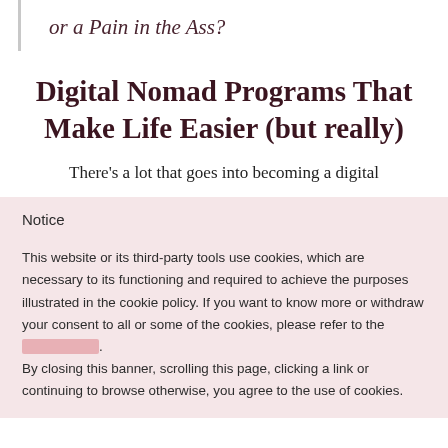or a Pain in the Ass?
Digital Nomad Programs That Make Life Easier (but really)
There's a lot that goes into becoming a digital
Notice
This website or its third-party tools use cookies, which are necessary to its functioning and required to achieve the purposes illustrated in the cookie policy. If you want to know more or withdraw your consent to all or some of the cookies, please refer to the [cookie policy]. By closing this banner, scrolling this page, clicking a link or continuing to browse otherwise, you agree to the use of cookies.